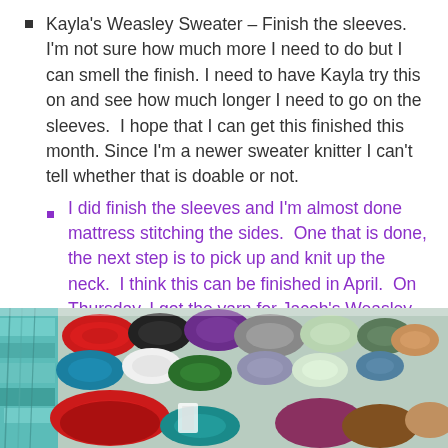Kayla's Weasley Sweater – Finish the sleeves. I'm not sure how much more I need to do but I can smell the finish. I need to have Kayla try this on and see how much longer I need to go on the sleeves.  I hope that I can get this finished this month. Since I'm a newer sweater knitter I can't tell whether that is doable or not.
I did finish the sleeves and I'm almost done mattress stitching the sides.  One that is done, the next step is to pick up and knit up the neck.  I think this can be finished in April.  On Thursday, I got the yarn for Jacob's Weasley Sweater and I casted on for that.
[Figure (photo): Photo of colorful skeins of yarn arranged in rows on a shelf, including teal, red, black, purple, white, grey, green, and orange colors.]